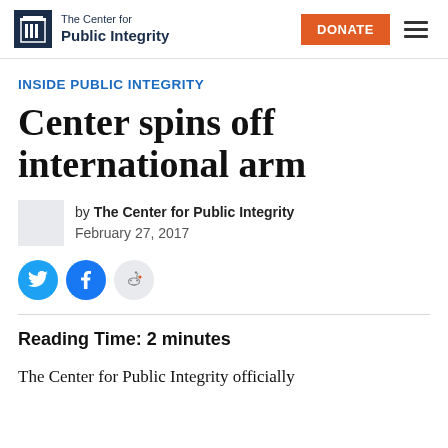The Center for Public Integrity — DONATE (navigation bar)
INSIDE PUBLIC INTEGRITY
Center spins off international arm
by The Center for Public Integrity
February 27, 2017
Reading Time: 2 minutes
The Center for Public Integrity officially